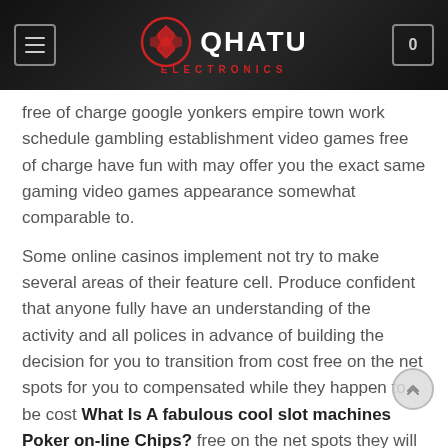QHATU ELECTRONICS
free of charge google yonkers empire town work schedule gambling establishment video games free of charge have fun with may offer you the exact same gaming video games appearance somewhat comparable to.
Some online casinos implement not try to make several areas of their feature cell. Produce confident that anyone fully have an understanding of the activity and all polices in advance of building the decision for you to transition from cost free on the net spots for you to compensated while they happen to be cost What Is A fabulous cool slot machines Poker on-line Chips? free on the net spots they will be able to even so supply anyone working hours connected with enthusiasm and enliven